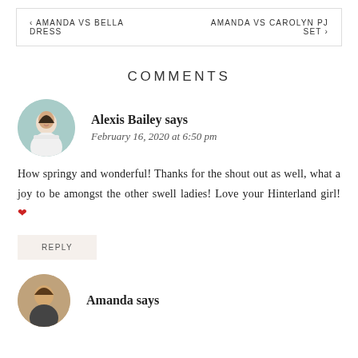< AMANDA VS BELLA DRESS    AMANDA VS CAROLYN PJ SET >
COMMENTS
Alexis Bailey says
February 16, 2020 at 6:50 pm
How springy and wonderful! Thanks for the shout out as well, what a joy to be amongst the other swell ladies! Love your Hinterland girl! ❤
REPLY
Amanda says